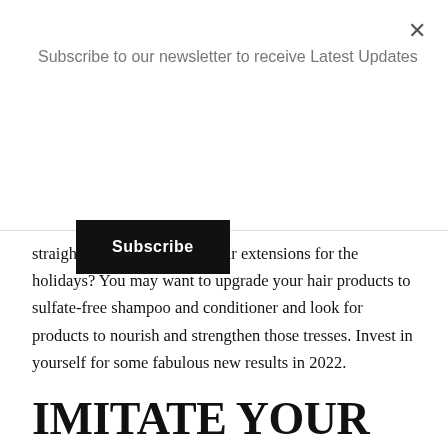Subscribe to our newsletter to receive Latest Updates
Subscribe
straighten your hair or add hair extensions for the holidays? You may want to upgrade your hair products to sulfate-free shampoo and conditioner and look for products to nourish and strengthen those tresses. Invest in yourself for some fabulous new results in 2022.
IMITATE YOUR BEST LOOKS
We all have photos that we think we look amazing in, and other photos that we aren't so thrilled about. Seek out the